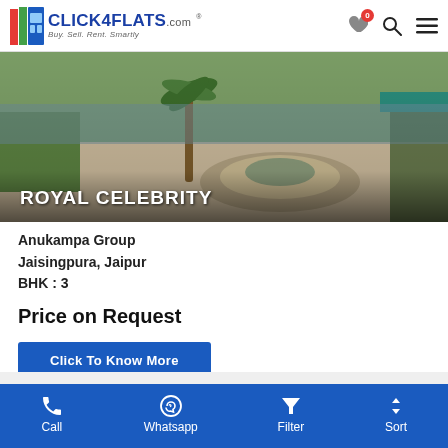Click4Flats.com — Buy. Sell. Rent. Smartly
[Figure (photo): Outdoor area of Royal Celebrity residential project with a circular fountain, palm trees, paved walkway and lawn]
ROYAL CELEBRITY
Anukampa Group
Jaisingpura, Jaipur
BHK : 3
Price on Request
Click To Know More
[Figure (photo): Partial view of Arpan residential project listing banner with 'Units Available' badge]
Call  Whatsapp  Filter  Sort